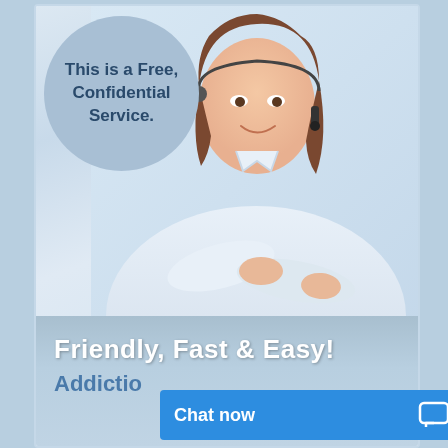[Figure (photo): A woman with a headset microphone wearing a white shirt with arms crossed, smiling, against a light blue background. There is a circular speech bubble overlay in the upper left of the image.]
This is a Free, Confidential Service.
Friendly, Fast & Easy!
Addictio[n...]
Chat now